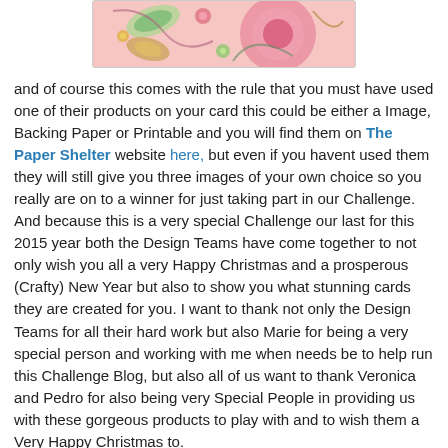[Figure (illustration): Decorative floral/paisley pattern image in pink, green, and gold tones, partially visible at the top of the page]
and of course this comes with the rule that you must have used one of their products on your card this could be either a Image, Backing Paper or Printable and you will find them on The Paper Shelter website here, but even if you havent used them they will still give you three images of your own choice so you really are on to a winner for just taking part in our Challenge.
And because this is a very special Challenge our last for this 2015 year both the Design Teams have come together to not only wish you all a very Happy Christmas and a prosperous (Crafty) New Year but also to show you what stunning cards they are created for you. I want to thank not only the Design Teams for all their hard work but also Marie for being a very special person and working with me when needs be to help run this Challenge Blog, but also all of us want to thank Veronica and Pedro for also being very Special People in providing us with these gorgeous products to play with and to wish them a Very Happy Christmas to.
And now for the big reveal:-